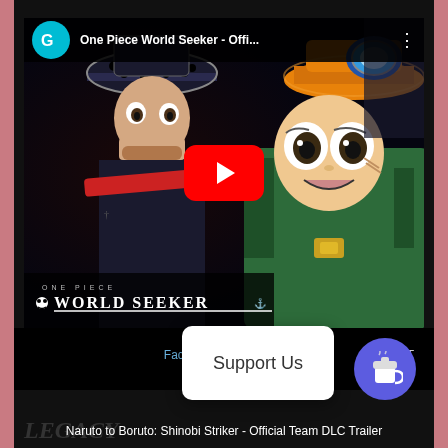[Figure (screenshot): Screenshot of a gaming website showing a YouTube video thumbnail for 'One Piece World Seeker - Official...' embedded video. The video shows anime characters from One Piece: Trafalgar Law (left, dark hat with dots) and Usopp (right, green outfit, orange hat). A red YouTube play button is overlaid in the center. The top bar shows a teal 'G' channel avatar and the title. The 'ONE PIECE WORLD SEEKER' logo appears at the bottom of the video with a skull icon.]
Facebook | Twitter | Support Us | KAPAG
Support Us
Naruto to Boruto: Shinobi Striker - Official Team DLC Trailer